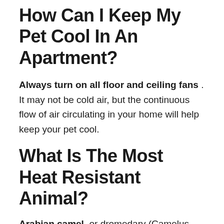How Can I Keep My Pet Cool In An Apartment?
Always turn on all floor and ceiling fans . It may not be cold air, but the continuous flow of air circulating in your home will help keep your pet cool.
What Is The Most Heat Resistant Animal?
Arabian camel, or dromedary (Camelus